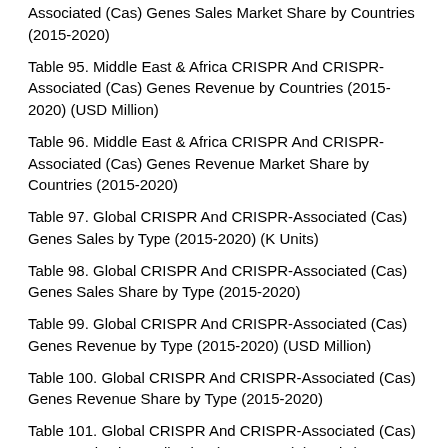Associated (Cas) Genes Sales Market Share by Countries (2015-2020)
Table 95. Middle East & Africa CRISPR And CRISPR-Associated (Cas) Genes Revenue by Countries (2015-2020) (USD Million)
Table 96. Middle East & Africa CRISPR And CRISPR-Associated (Cas) Genes Revenue Market Share by Countries (2015-2020)
Table 97. Global CRISPR And CRISPR-Associated (Cas) Genes Sales by Type (2015-2020) (K Units)
Table 98. Global CRISPR And CRISPR-Associated (Cas) Genes Sales Share by Type (2015-2020)
Table 99. Global CRISPR And CRISPR-Associated (Cas) Genes Revenue by Type (2015-2020) (USD Million)
Table 100. Global CRISPR And CRISPR-Associated (Cas) Genes Revenue Share by Type (2015-2020)
Table 101. Global CRISPR And CRISPR-Associated (Cas) Genes Sales by Application (2015-2020) (K Units)
Table 102. Global CRISPR And CRISPR-Associated (Cas) Genes Sales Share by Application (2015-2020)